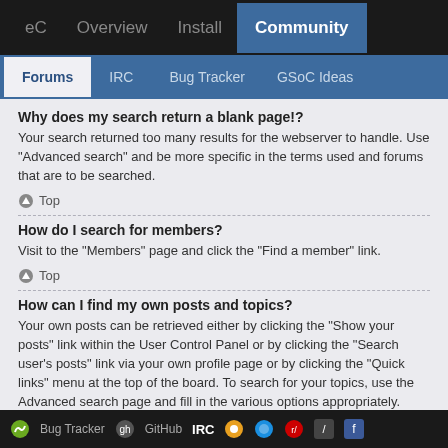eC  Overview  Install  Community
Forums  IRC  Bug Tracker  GSoC Ideas
Why does my search return a blank page!?
Your search returned too many results for the webserver to handle. Use “Advanced search” and be more specific in the terms used and forums that are to be searched.
⬆ Top
How do I search for members?
Visit to the “Members” page and click the “Find a member” link.
⬆ Top
How can I find my own posts and topics?
Your own posts can be retrieved either by clicking the “Show your posts” link within the User Control Panel or by clicking the “Search user’s posts” link via your own profile page or by clicking the “Quick links” menu at the top of the board. To search for your topics, use the Advanced search page and fill in the various options appropriately.
⬆ Top
Bug Tracker  GitHub  IRC